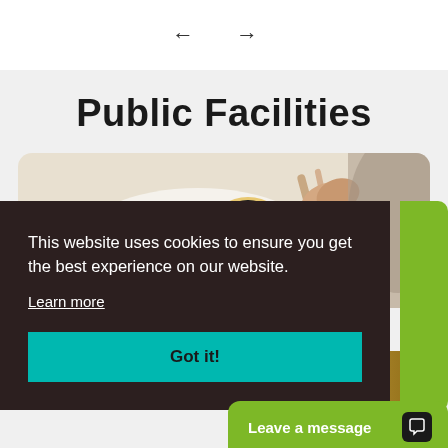[Figure (screenshot): Navigation arrows (left and right) for a carousel]
Public Facilities
[Figure (photo): Food photo showing a plated meal with greens and a hand holding cutlery]
This website uses cookies to ensure you get the best experience on our website.
Learn more
Got it!
Leave a message